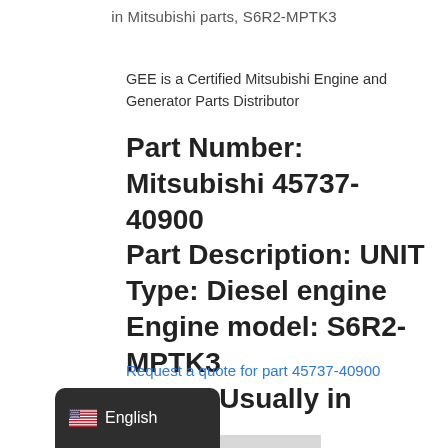in Mitsubishi parts, S6R2-MPTK3
GEE is a Certified Mitsubishi Engine and Generator Parts Distributor
Part Number: Mitsubishi 45737-40900 Part Description: UNIT Type: Diesel engine Engine model: S6R2-MPTK3 Stock: Usually in stock
Request a quote for part 45737-40900 UNIT here.
READ MORE
English